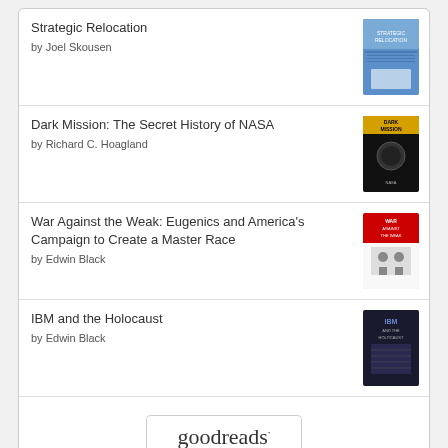Strategic Relocation by Joel Skousen
Dark Mission: The Secret History of NASA by Richard C. Hoagland
War Against the Weak: Eugenics and America's Campaign to Create a Master Race by Edwin Black
IBM and the Holocaust by Edwin Black
[Figure (logo): Goodreads logo inside a rounded rectangle button]